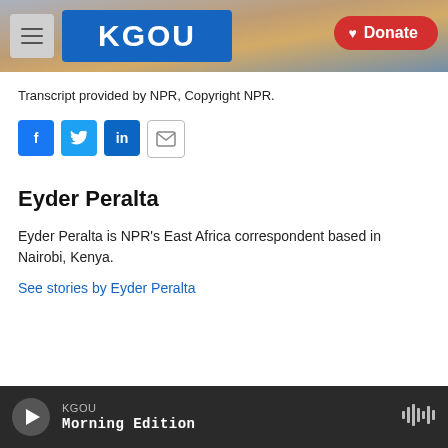[Figure (screenshot): KGOU radio station website header with hamburger menu, KGOU logo in blue, and a red Donate button. Background shows a cityscape photo.]
Transcript provided by NPR, Copyright NPR.
[Figure (infographic): Social sharing buttons: Facebook (blue), Twitter (blue), LinkedIn (blue), and Email (white/outline)]
Eyder Peralta
Eyder Peralta is NPR's East Africa correspondent based in Nairobi, Kenya.
See stories by Eyder Peralta
KGOU  Morning Edition